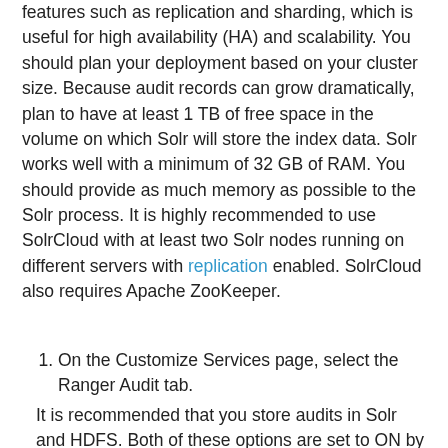features such as replication and sharding, which is useful for high availability (HA) and scalability. You should plan your deployment based on your cluster size. Because audit records can grow dramatically, plan to have at least 1 TB of free space in the volume on which Solr will store the index data. Solr works well with a minimum of 32 GB of RAM. You should provide as much memory as possible to the Solr process. It is highly recommended to use SolrCloud with at least two Solr nodes running on different servers with replication enabled. SolrCloud also requires Apache ZooKeeper.
On the Customize Services page, select the Ranger Audit tab.
It is recommended that you store audits in Solr and HDFS. Both of these options are set to ON by default. Solr provides the capability to index and search on the most recent logs while HDFS is used